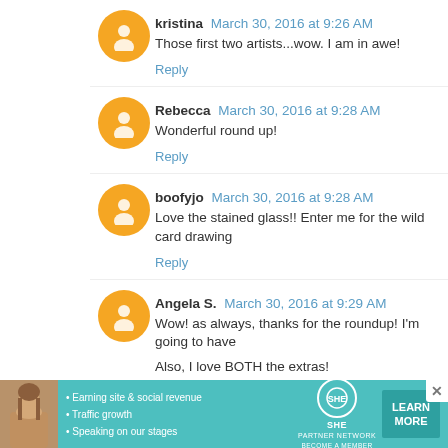kristina March 30, 2016 at 9:26 AM
Those first two artists...wow. I am in awe!
Reply
Rebecca March 30, 2016 at 9:28 AM
Wonderful round up!
Reply
boofyjo March 30, 2016 at 9:28 AM
Love the stained glass!! Enter me for the wild card drawing
Reply
Angela S. March 30, 2016 at 9:29 AM
Wow! as always, thanks for the roundup! I'm going to have
Also, I love BOTH the extras!
Reply
[Figure (infographic): SHE Partner Network advertisement banner with woman photo, bullet points about earning site & social revenue, traffic growth, speaking on our stages, SHE logo, and LEARN MORE button]